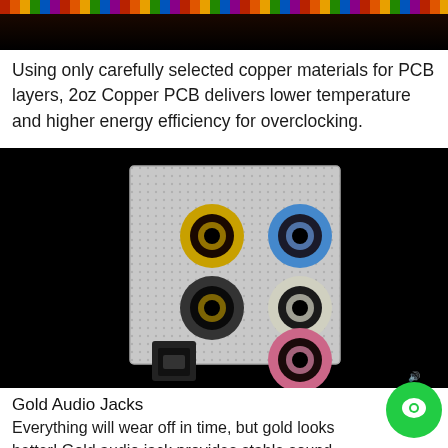[Figure (photo): Top cropped image showing colorful PCB circuit board details on black background]
Using only carefully selected copper materials for PCB layers, 2oz Copper PCB delivers lower temperature and higher energy efficiency for overclocking.
[Figure (photo): Close-up photo of audio jacks on motherboard I/O panel showing gold, blue, black/gold, silver/gold, and pink audio connectors on a silver perforated panel against black background]
Gold Audio Jacks
Everything will wear off in time, but gold looks better! Gold audio jack provides stable sound transmissio